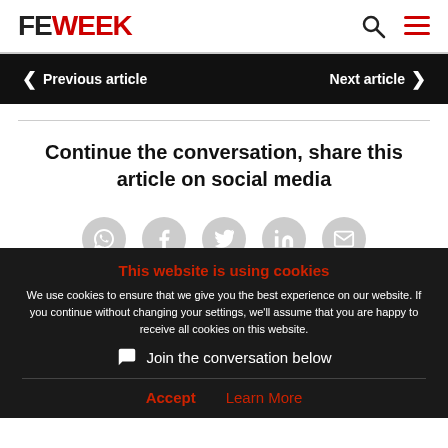FE WEEK
Previous article | Next article
Continue the conversation, share this article on social media
[Figure (infographic): Social media sharing icons: WhatsApp, Facebook, Twitter, LinkedIn, Email in circular grey buttons]
This website is using cookies
We use cookies to ensure that we give you the best experience on our website. If you continue without changing your settings, we'll assume that you are happy to receive all cookies on this website.
Join the conversation below
Accept   Learn More